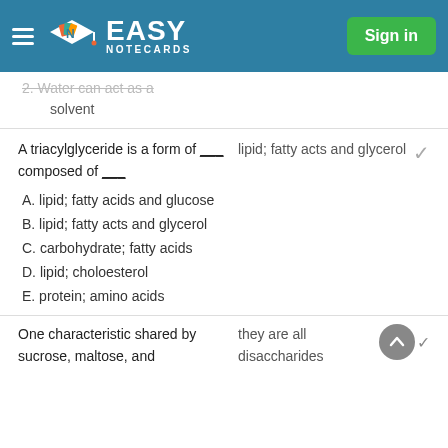Easy Notecards — Sign in
2. Water can act as a solvent
A triacylglyceride is a form of ___ composed of ___
lipid; fatty acts and glycerol
A. lipid; fatty acids and glucose
B. lipid; fatty acts and glycerol
C. carbohydrate; fatty acids
D. lipid; choloesterol
E. protein; amino acids
One characteristic shared by sucrose, maltose, and
they are all disaccharides